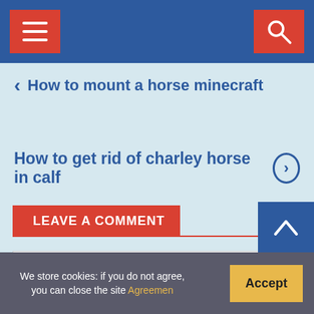Navigation bar with hamburger menu and search button
How to mount a horse minecraft
How to get rid of charley horse in calf
LEAVE A COMMENT
Comment *
We store cookies: if you do not agree, you can close the site Agreemen
Accept